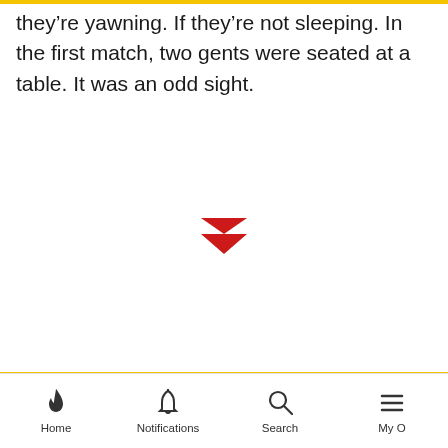they’re yawning. If they’re not sleeping. In the first match, two gents were seated at a table. It was an odd sight.
[Figure (illustration): Red downward-pointing double chevron arrow icon centered on the page]
Home   Notifications   Search   My O